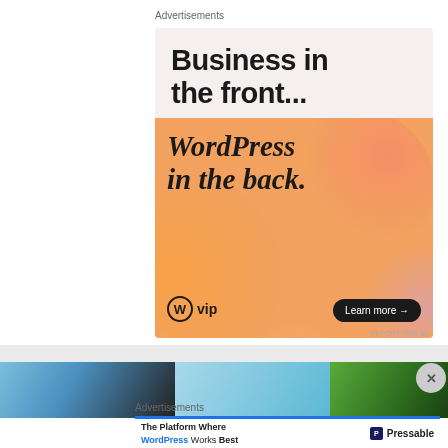Advertisements
[Figure (infographic): WordPress VIP advertisement. Top section on light beige background: 'Business in the front...' in large bold sans-serif. Bottom section with orange/pink/lavender gradient blobs background: 'WordPress in the back.' in large bold serif italic. WordPress VIP logo bottom left, 'Learn more →' dark pill button bottom right.]
REPORT THIS AD
INSTAGRAM
[Figure (photo): Three partial thumbnail photos in a horizontal strip: outdoor/nature scenes]
Advertisements
[Figure (infographic): Pressable advertisement: 'The Platform Where WordPress Works Best' with Pressable logo]